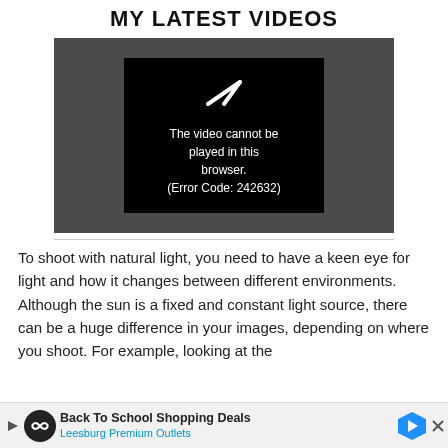MY LATEST VIDEOS
[Figure (screenshot): Video player showing error message: 'The video cannot be played in this browser. (Error Code: 242632)']
To shoot with natural light, you need to have a keen eye for light and how it changes between different environments. Although the sun is a fixed and constant light source, there can be a huge difference in your images, depending on where you shoot. For example, looking at the ligh... ...ect su...
[Figure (other): Advertisement banner: 'Back To School Shopping Deals' for Leesburg Premium Outlets]